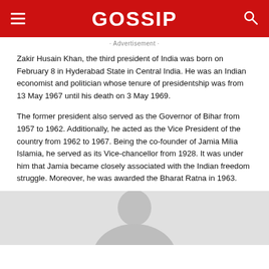GOSSIP
· Advertisement ·
Zakir Husain Khan, the third president of India was born on February 8 in Hyderabad State in Central India. He was an Indian economist and politician whose tenure of presidentship was from 13 May 1967 until his death on 3 May 1969.
The former president also served as the Governor of Bihar from 1957 to 1962. Additionally, he acted as the Vice President of the country from 1962 to 1967. Being the co-founder of Jamia Milia Islamia, he served as its Vice-chancellor from 1928. It was under him that Jamia became closely associated with the Indian freedom struggle. Moreover, he was awarded the Bharat Ratna in 1963.
[Figure (photo): Photo of Zakir Husain Khan, partially visible at the bottom of the page, showing a silhouette/portrait against a light grey background.]